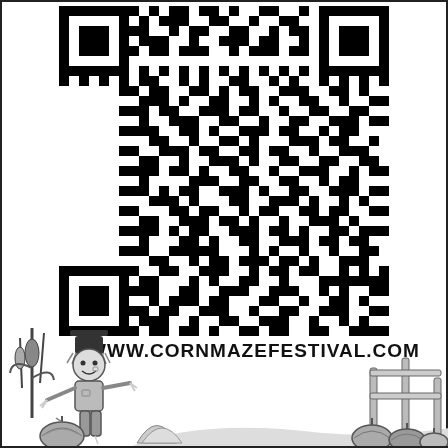[Figure (other): QR code linking to www.cornmazefestival.com]
WWW.CORNMAZEFESTIVAL.COM
[Figure (illustration): Black and white illustration of a scarecrow with a pumpkin on the left and a fence with pumpkins on the right, autumn harvest scene at the bottom of the page]